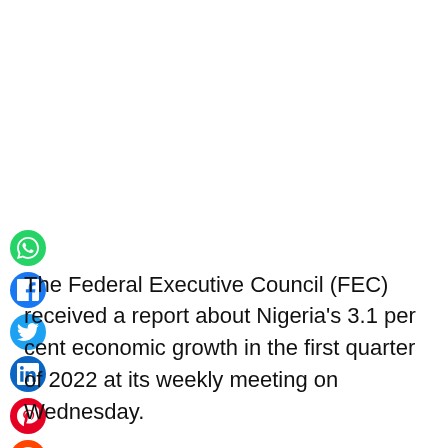[Figure (other): Vertical stack of social media sharing icons: WhatsApp (green), Facebook (blue), Twitter (light blue), LinkedIn (dark blue), Pinterest (red), Reddit (orange), Email (dark red), Print (gray)]
The Federal Executive Council (FEC) received a report about Nigeria's 3.1 per cent economic growth in the first quarter of 2022 at its weekly meeting on Wednesday.